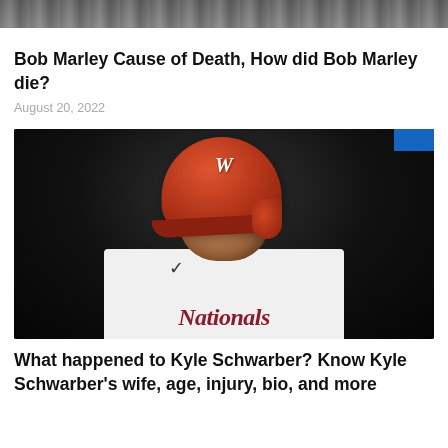[Figure (photo): Partial top image, cropped photo showing dark background]
Bob Marley Cause of Death, How did Bob Marley die?
August 20, 2022
[Figure (photo): Kyle Schwarber in Washington Nationals white jersey and red batting helmet with W logo, looking downward, dark stadium background]
What happened to Kyle Schwarber? Know Kyle Schwarber's wife, age, injury, bio, and more